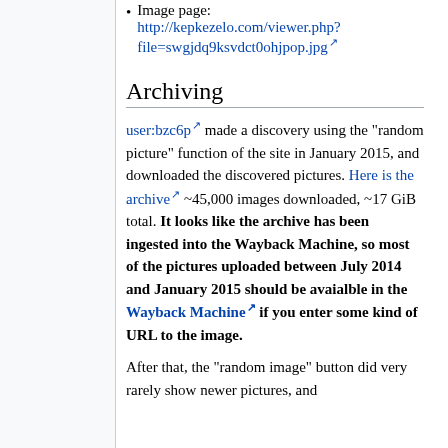Image page: http://kepkezelo.com/viewer.php?file=swgjdq9ksvdct0ohjpop.jpg
Archiving
user:bzc6p made a discovery using the "random picture" function of the site in January 2015, and downloaded the discovered pictures. Here is the archive ~45,000 images downloaded, ~17 GiB total. It looks like the archive has been ingested into the Wayback Machine, so most of the pictures uploaded between July 2014 and January 2015 should be avaialble in the Wayback Machine if you enter some kind of URL to the image.
After that, the "random image" button did very rarely show newer pictures, and